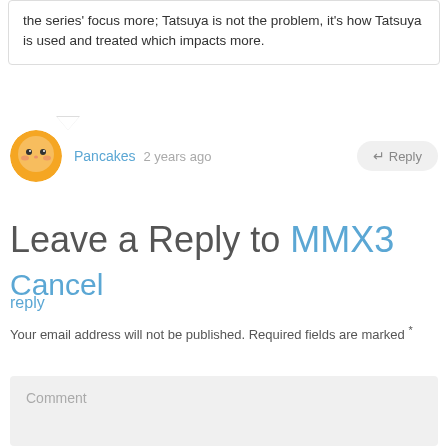the series' focus more; Tatsuya is not the problem, it's how Tatsuya is used and treated which impacts more.
Pancakes  2 years ago
Leave a Reply to MMX3  Cancel reply
Your email address will not be published. Required fields are marked *
Comment